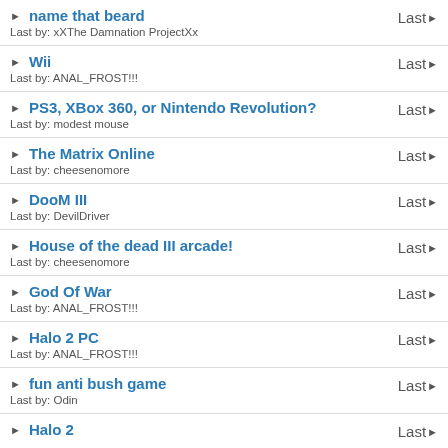name that beard
Last by: xXThe Damnation ProjectXx
Wii
Last by: ANAL_FROST!!!
PS3, XBox 360, or Nintendo Revolution?
Last by: modest mouse
The Matrix Online
Last by: cheesenomore
DooM III
Last by: DevilDriver
House of the dead III arcade!
Last by: cheesenomore
God Of War
Last by: ANAL_FROST!!!
Halo 2 PC
Last by: ANAL_FROST!!!
fun anti bush game
Last by: Odin
Halo 2